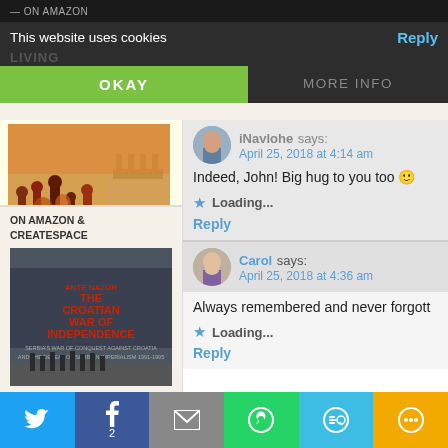— ON AMAZON
This website uses cookies
OKAY
MORE INFO
Reply
[Figure (screenshot): Book cover: ancient battle scene, JULIENNE EDEN BUSIC]
ON AMAZON & CREATESPACE
[Figure (screenshot): Book cover: THE CROATIAN WAR OF INDEPENDENCE by ANTE NAZOR]
iNavlohe says:
April 25, 2018 at 4:14 am
Indeed, John! Big hug to you too 🙂
Loading...
Reply
Carol says:
April 25, 2018 at 4:36 am
Always remembered and never forgott
Loading...
Reply